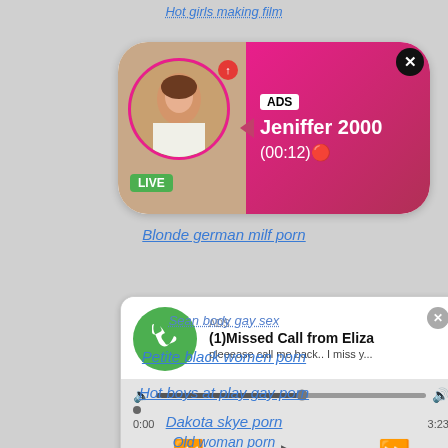Hot girls making film
[Figure (screenshot): Live ad notification with photo of woman, green LIVE badge, pink/red gradient background showing ADS label, name Jeniffer 2000, time (00:12), close button]
Blonde german milf porn
[Figure (screenshot): Fake missed call ad from Eliza with green phone icon, audio player bar showing 0:00 to 3:23, playback controls]
Sean body gay sex
Petite black women porn
Hot boys at play gay porn
Dakota skye porn
Old woman porn